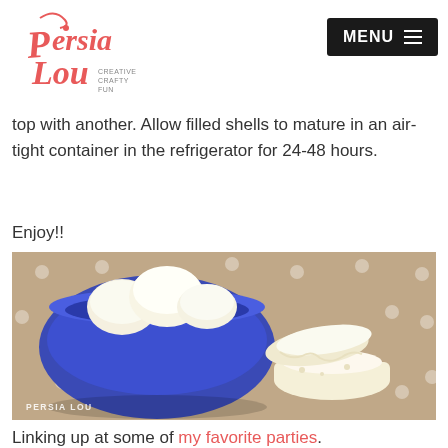Persia Lou - Creative Crafty Fun | MENU
top with another. Allow filled shells to mature in an air-tight container in the refrigerator for 24-48 hours.
Enjoy!!
[Figure (photo): A blue bowl filled with white cream-filled macarons on a tan polka-dot background, with one macaron broken open in the foreground. Watermark reads PERSIA LOU.]
Linking up at some of my favorite parties.